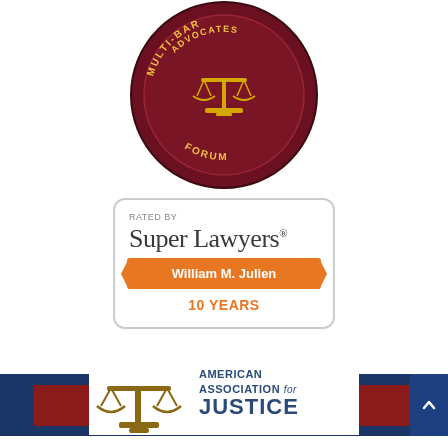[Figure (logo): Multi-bar Advocates Forum circular logo with gold scales of justice on dark maroon background]
[Figure (logo): Super Lawyers badge: Rated by Super Lawyers, William M. Julien, 10 Years, orange ribbon design]
[Figure (infographic): Dark navy blue bar with crimson button: envelope icon and text EMAIL US FOR A RESPONSE]
[Figure (logo): American Association for Justice logo with scales of justice and stylized text]